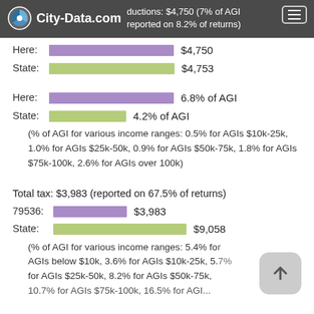City-Data.com deductions: $4,750 (7% of AGI reported on 8.2% of returns)
[Figure (bar-chart): Deductions dollar amounts]
[Figure (bar-chart): Deductions as % of AGI]
(% of AGI for various income ranges: 0.5% for AGIs $10k-25k, 1.0% for AGIs $25k-50k, 0.9% for AGIs $50k-75k, 1.8% for AGIs $75k-100k, 2.6% for AGIs over 100k)
Total tax: $3,983 (reported on 67.5% of returns)
[Figure (bar-chart): Total tax]
(% of AGI for various income ranges: 5.4% for AGIs below $10k, 3.6% for AGIs $10k-25k, 5.7% for AGIs $25k-50k, 8.2% for AGIs $50k-75k, 10.7% for AGIs $75k-100k, 16.5% for AGIs...